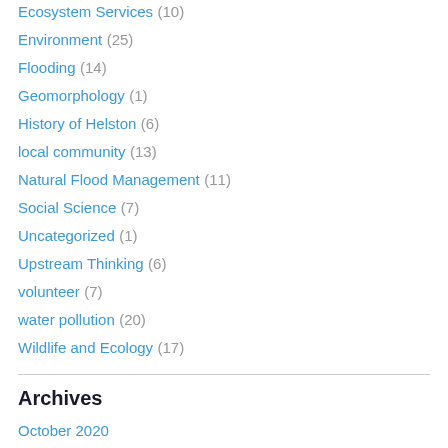Ecosystem Services (10)
Environment (25)
Flooding (14)
Geomorphology (1)
History of Helston (6)
local community (13)
Natural Flood Management (11)
Social Science (7)
Uncategorized (1)
Upstream Thinking (6)
volunteer (7)
water pollution (20)
Wildlife and Ecology (17)
Archives
October 2020
January 2020
September 2019